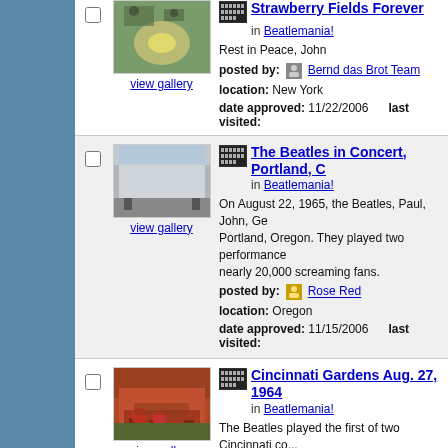[Figure (photo): Strawberry Fields memorial mosaic photo with people in background]
view gallery
Strawberry Fields Forever
in Beatlemania!
Rest in Peace, John
posted by: Bernd das Brot Team
location: New York
date approved: 11/22/2006    last visited:
[Figure (photo): Modern arena/convention center building exterior]
view gallery
The Beatles in Concert, Portland, C...
in Beatlemania!
On August 22, 1965, the Beatles, Paul, John, Ge... Portland, Oregon. They played two performance... nearly 20,000 screaming fans.
posted by: Rose Red
location: Oregon
date approved: 11/15/2006    last visited:
[Figure (photo): Cincinnati Gardens arena exterior with red trees]
view gallery
Cincinnati Gardens Aug. 27, 1964
in Beatlemania!
The Beatles played the first of two Cincinnati co... on Aug. 27, 1964.